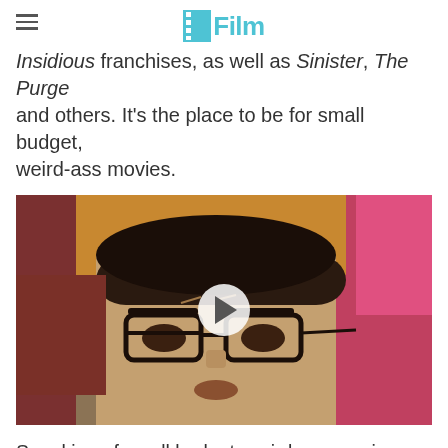/Film
Insidious franchises, as well as Sinister, The Purge and others. It's the place to be for small budget, weird-ass movies.
[Figure (screenshot): Video player showing a man with black-rimmed glasses looking surprised, with a play button overlay. Background has warm orange and pink tones.]
Speaking of small budget, weird-ass movies, Kevin Smith recently wrote a column at the Hollywood